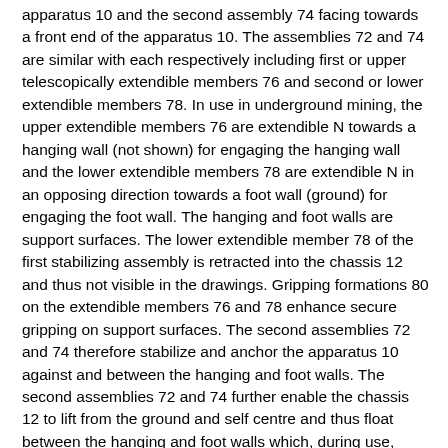apparatus 10 and the second assembly 74 facing towards a front end of the apparatus 10. The assemblies 72 and 74 are similar with each respectively including first or upper telescopically extendible members 76 and second or lower extendible members 78. In use in underground mining, the upper extendible members 76 are extendible N towards a hanging wall (not shown) for engaging the hanging wall and the lower extendible members 78 are extendible N in an opposing direction towards a foot wall (ground) for engaging the foot wall. The hanging and foot walls are support surfaces. The lower extendible member 78 of the first stabilizing assembly is retracted into the chassis 12 and thus not visible in the drawings. Gripping formations 80 on the extendible members 76 and 78 enhance secure gripping on support surfaces. The second assemblies 72 and 74 therefore stabilize and anchor the apparatus 10 against and between the hanging and foot walls. The second assemblies 72 and 74 further enable the chassis 12 to lift from the ground and self centre and thus float between the hanging and foot walls which, during use, enables a significant amount of the reaction load vibrations of the drill and breaker 62 and 64 to be conveyed directly from the tools 62 and 64 to the